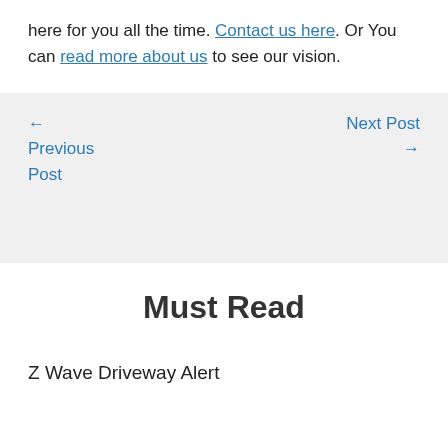here for you all the time. Contact us here. Or You can read more about us to see our vision.
← Previous Post
Next Post →
Must Read
Z Wave Driveway Alert